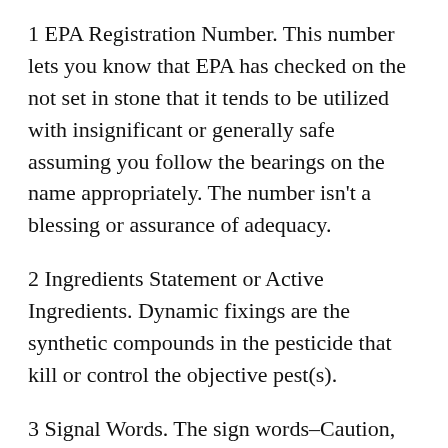1 EPA Registration Number. This number lets you know that EPA has checked on the not set in stone that it tends to be utilized with insignificant or generally safe assuming you follow the bearings on the name appropriately. The number isn't a blessing or assurance of adequacy.
2 Ingredients Statement or Active Ingredients. Dynamic fixings are the synthetic compounds in the pesticide that kill or control the objective pest(s).
3 Signal Words. The sign words–Caution, Warning, or Danger—show the pesticide's true capacity for making you wiped out. The word CAUTION d...